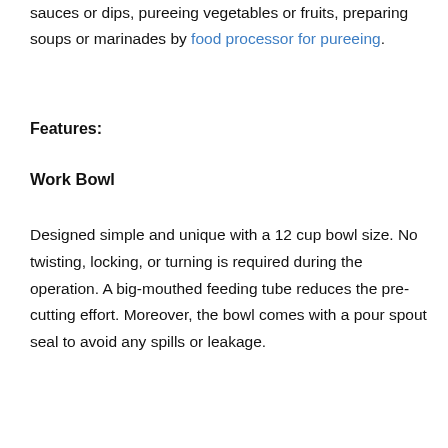sauces or dips, pureeing vegetables or fruits, preparing soups or marinades by food processor for pureeing.
Features:
Work Bowl
Designed simple and unique with a 12 cup bowl size. No twisting, locking, or turning is required during the operation. A big-mouthed feeding tube reduces the pre-cutting effort. Moreover, the bowl comes with a pour spout seal to avoid any spills or leakage.